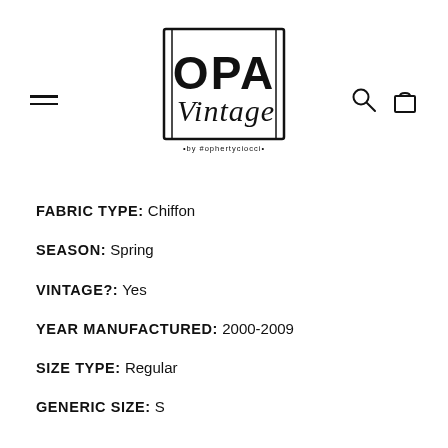[Figure (logo): OPA Vintage by #ophertyciocci logo with stylized block letters and script font inside a rectangular bracket frame]
FABRIC TYPE: Chiffon
SEASON: Spring
VINTAGE?: Yes
YEAR MANUFACTURED: 2000-2009
SIZE TYPE: Regular
GENERIC SIZE: S